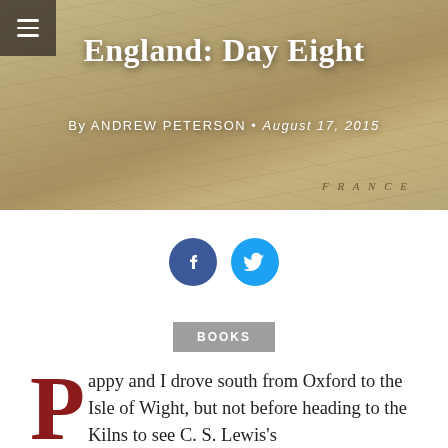[Figure (map): Antique map of England and surrounding regions used as hero background image]
England: Day Eight
By ANDREW PETERSON • August 17, 2015
[Figure (infographic): Facebook and Twitter social sharing icon buttons]
BOOKS
Pappy and I drove south from Oxford to the Isle of Wight, but not before heading to the Kilns to see C. S. Lewis's